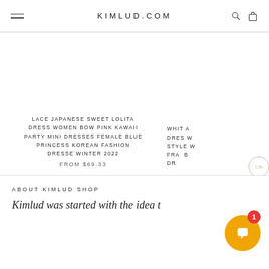KIMLUD.COM
LACE JAPANESE SWEET LOLITA DRESS WOMEN BOW PINK KAWAII PARTY MINI DRESSES FEMALE BLUE PRINCESS KOREAN FASHION DRESSE WINTER 2022
FROM $69.33
WHIT A DRESS W STYLE WI FRA B DR
ABOUT KIMLUD SHOP
Kimlud was started with the idea t...